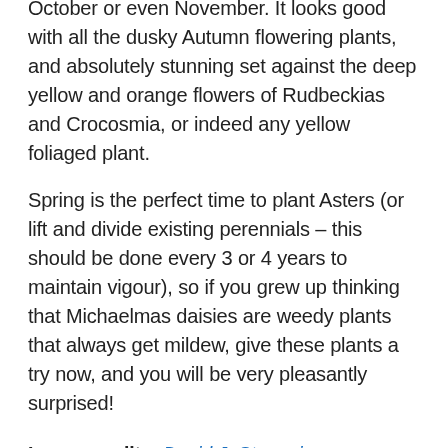October or even November. It looks good with all the dusky Autumn flowering plants, and absolutely stunning set against the deep yellow and orange flowers of Rudbeckias and Crocosmia, or indeed any yellow foliaged plant.
Spring is the perfect time to plant Asters (or lift and divide existing perennials – this should be done every 3 or 4 years to maintain vigour), so if you grew up thinking that Michaelmas daisies are weedy plants that always get mildew, give these plants a try now, and you will be very pleasantly surprised!
Image credits: David J. Stang, je_wyer, manuel m.v., manuel m.v., Leonora (Ellie) Enking.